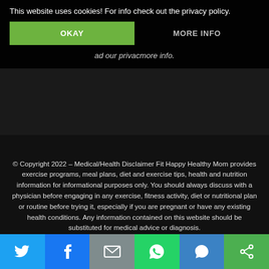This website uses cookies! For info check out the privacy policy.
OKAY
MORE INFO
ad our privac more info.
© Copyright 2022 – Medical/Health Disclaimer Fit Happy Healthy Mom provides exercise programs, meal plans, diet and exercise tips, health and nutrition information for informational purposes only. You should always discuss with a physician before engaging in any exercise, fitness activity, diet or nutritional plan or routine before trying it, especially if you are pregnant or have any existing health conditions. Any information contained on this website should be substituted for medical advice or diagnosis.
[Figure (other): Social media share buttons: Twitter, Facebook, Email, WhatsApp, SMS, and another icon]